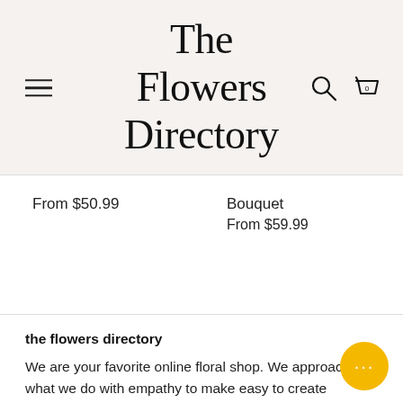The Flowers Directory
From $50.99
Bouquet
From $59.99
the flowers directory
We are your favorite online floral shop. We approach what we do with empathy to make easy to create unexpected delight to those love.